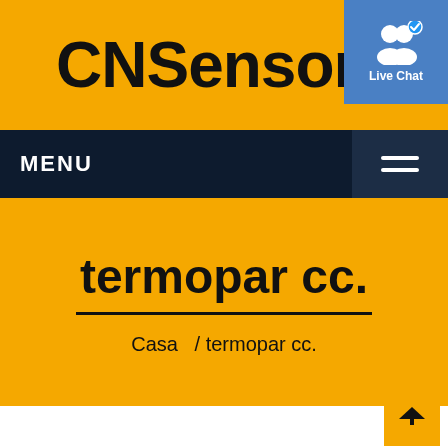CNSensors
[Figure (illustration): Live Chat button with two user silhouette icons and a blue checkmark badge]
MENU
termopar cc.
Casa   / termopar cc.
[Figure (other): Scroll to top arrow button in yellow square at bottom right]